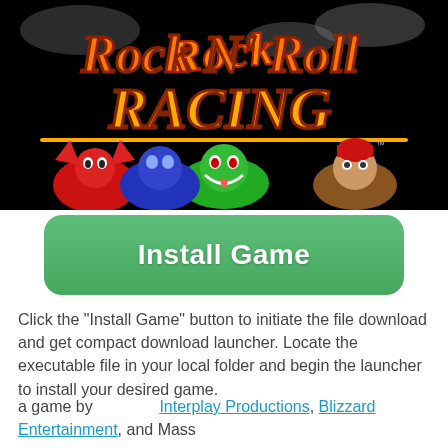[Figure (screenshot): Rock N' Roll Racing game logo on black background with cartoon characters including a red devil, blue robot, green snake, and red-haired warrior]
Install Game
Click the "Install Game" button to initiate the file download and get compact download launcher. Locate the executable file in your local folder and begin the launcher to install your desired game.
a game by  Interplay Productions, Blizzard Entertainment, and Mass